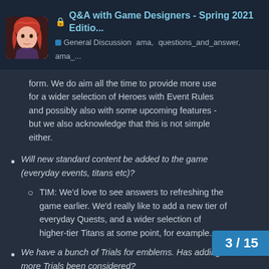🔒 Q&A with Game Designers - Spring 2021 Editio... | General Discussion  ama,  questions_and_answer,  ama_...
form. We do aim all the time to provide more use for a wider selection of Heroes with Event Rules and possibly also with some upcoming features - but we also acknowledge that this is not simple either.
Will new standard content be added to the game (everyday events, titans etc)?
TIM: We'd love to see answers to refreshing the game earlier. We'd really like to add a new tier of everyday Quests, and a wider selection of higher-tier Titans at some point, for example.
We have a bunch of Trials for emblems. Has adding more Trials been considered?
TIM: Not at the moment, the weekly cadence for the current Trials seems to wor... as noted elsewhere we prefer t...